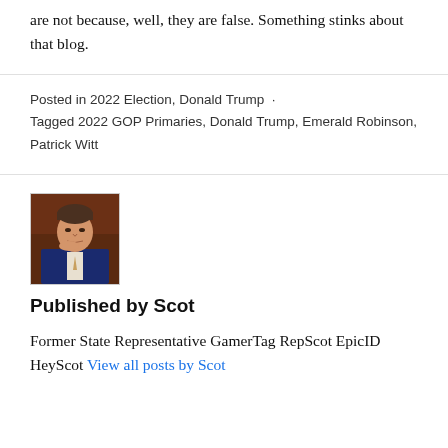are not because, well, they are false. Something stinks about that blog.
Posted in 2022 Election, Donald Trump · Tagged 2022 GOP Primaries, Donald Trump, Emerald Robinson, Patrick Witt
[Figure (photo): Portrait illustration of a man in a blue suit, resting his hand near his face, with a brown/reddish background]
Published by Scot
Former State Representative GamerTag RepScot EpicID HeyScot View all posts by Scot